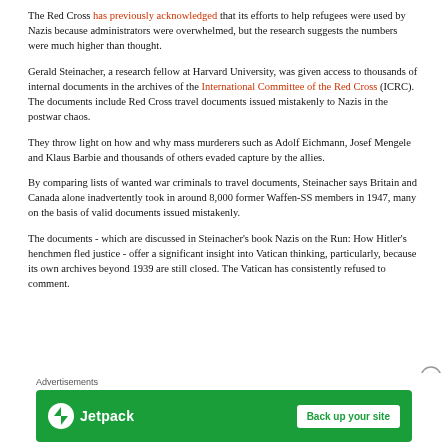The Red Cross has previously acknowledged that its efforts to help refugees were used by Nazis because administrators were overwhelmed, but the research suggests the numbers were much higher than thought.
Gerald Steinacher, a research fellow at Harvard University, was given access to thousands of internal documents in the archives of the International Committee of the Red Cross (ICRC). The documents include Red Cross travel documents issued mistakenly to Nazis in the postwar chaos.
They throw light on how and why mass murderers such as Adolf Eichmann, Josef Mengele and Klaus Barbie and thousands of others evaded capture by the allies.
By comparing lists of wanted war criminals to travel documents, Steinacher says Britain and Canada alone inadvertently took in around 8,000 former Waffen-SS members in 1947, many on the basis of valid documents issued mistakenly.
The documents - which are discussed in Steinacher's book Nazis on the Run: How Hitler's henchmen fled justice - offer a significant insight into Vatican thinking, particularly, because its own archives beyond 1939 are still closed. The Vatican has consistently refused to comment.
[Figure (infographic): Jetpack advertisement banner: green background with Jetpack logo and 'Back up your site' button]